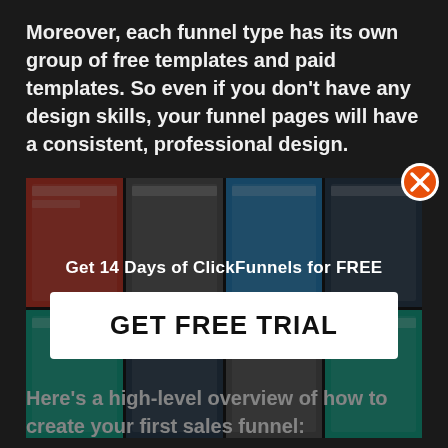Moreover, each funnel type has its own group of free templates and paid templates. So even if you don't have any design skills, your funnel pages will have a consistent, professional design.
[Figure (screenshot): Screenshot of ClickFunnels template gallery showing multiple funnel page thumbnails, dimmed by a modal overlay]
[Figure (infographic): Modal popup overlay with text 'Get 14 Days of ClickFunnels for FREE' and a large white button labeled 'GET FREE TRIAL', plus an orange X close button in the top-right corner]
Here's a high-level overview of how to create your first sales funnel: